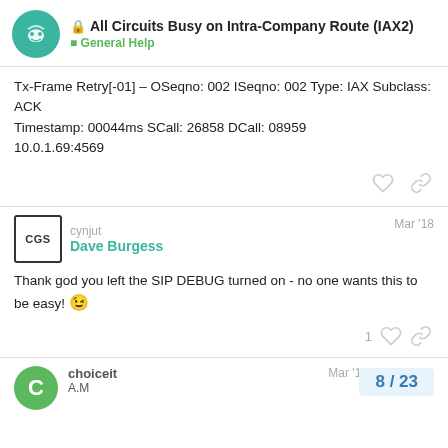All Circuits Busy on Intra-Company Route (IAX2) — General Help
Tx-Frame Retry[-01] – OSeqno: 002 ISeqno: 002 Type: IAX Subclass: ACK
Timestamp: 00044ms SCall: 26858 DCall: 08959
10.0.1.69:4569
cynjut Mar '18
Dave Burgess
Thank god you left the SIP DEBUG turned on - no one wants this to be easy! 😉
choiceit Mar '18
A.M
8 / 23